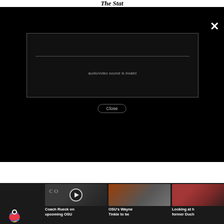The Stat
[Figure (screenshot): Black modal overlay with video player error. White X close button in top right. Video box with grey border shows 'audio/video source is invalid' error text with a horizontal line above it. A 'Close' pill button is shown below the video box.]
[Figure (screenshot): NBC News logo (peacock multicolor) in bottom left. Row of three video thumbnail cards: 1) Building exterior with play button overlay, 2) Basketball coach in orange tie on sideline, 3) Basketball players on court. Cards have text below: 'Coach Rueck on upcoming OSU', 'OSU's Wayne Tinkle to be', 'Looking at h... former Duch...']
Coach Rueck on upcoming OSU
OSU's Wayne Tinkle to be
Looking at h former Duch